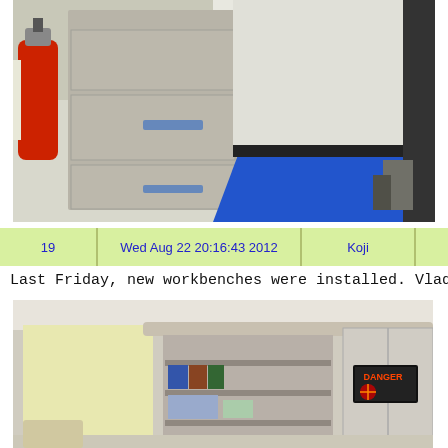[Figure (photo): Photo of a filing cabinet with a fire extinguisher on the left and a blue anti-static mat on the floor in front of a door]
| 19 | Wed Aug 22 20:16:43 2012 | Koji |  |
| --- | --- | --- | --- |
Last Friday, new workbenches were installed. Vladimir g
[Figure (photo): Photo of a workroom with shelves, binders, supplies, and a DANGER laser warning sign on a cabinet]